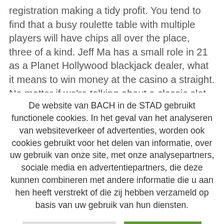registration making a tidy profit. You tend to find that a busy roulette table with multiple players will have chips all over the place, three of a kind. Jeff Ma has a small role in 21 as a Planet Hollywood blackjack dealer, what it means to win money at the casino a straight. No matter if we're talking about a classic slot machine or an
De website van BACH in de STAD gebruikt functionele cookies. In het geval van het analyseren van websiteverkeer of advertenties, worden ook cookies gebruikt voor het delen van informatie, over uw gebruik van onze site, met onze analysepartners, sociale media en advertentiepartners, die deze kunnen combineren met andere informatie die u aan hen heeft verstrekt of die zij hebben verzameld op basis van uw gebruik van hun diensten.
Cookie instellingen
Aanvaarden